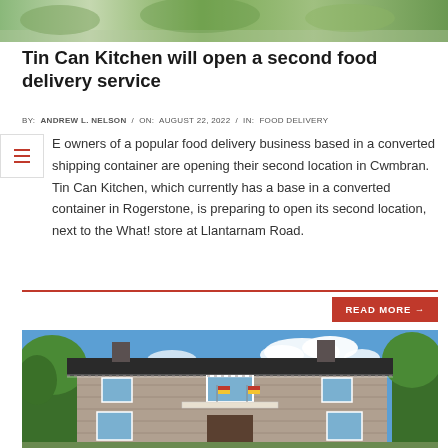[Figure (photo): Top portion of a food delivery image, cropped — green background visible at top]
Tin Can Kitchen will open a second food delivery service
BY: ANDREW L. NELSON / ON: AUGUST 22, 2022 / IN: FOOD DELIVERY
E owners of a popular food delivery business based in a converted shipping container are opening their second location in Cwmbran. Tin Can Kitchen, which currently has a base in a converted container in Rogerstone, is preparing to open its second location, next to the What! store at Llantarnam Road.
READ MORE →
[Figure (photo): A large stone-built two-storey house with dark roof, white-framed windows, flags on the balcony, surrounded by trees, under a blue sky with white clouds]